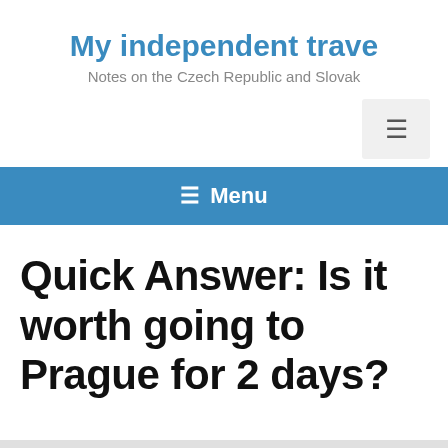My independent trave
Notes on the Czech Republic and Slovak
Quick Answer: Is it worth going to Prague for 2 days?